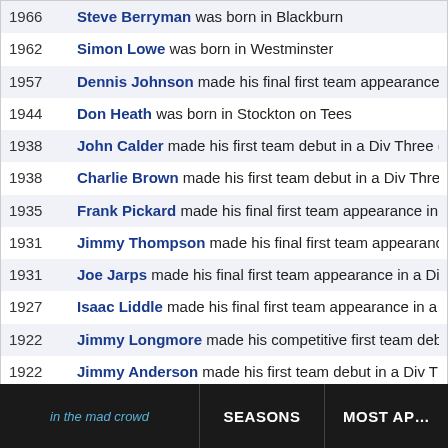1966 Steve Berryman was born in Blackburn
1962 Simon Lowe was born in Westminster
1957 Dennis Johnson made his final first team appearance in a Div T…
1944 Don Heath was born in Stockton on Tees
1938 John Calder made his first team debut in a Div Three (N) match
1938 Charlie Brown made his first team debut in a Div Three (N) mat…
1935 Frank Pickard made his final first team appearance in a Div Thr…
1931 Jimmy Thompson made his final first team appearance in a Di…
1931 Joe Jarps made his final first team appearance in a Div Three (…
1927 Isaac Liddle made his final first team appearance in a Div Three…
1922 Jimmy Longmore made his competitive first team debut in a Di…
1922 Jimmy Anderson made his first team debut in a Div Three (N) m…
1919 Jack Manners made his final first team appearance in a NE Lea…
1913 Archie Pickering was born in Murton Colliery
in the mad crowd   SEASONS   MOST APP